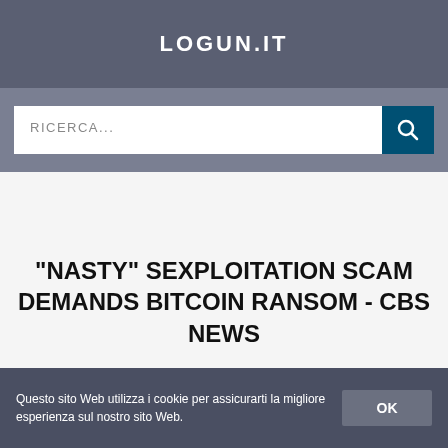LOGUN.IT
RICERCA...
"NASTY" SEXPLOITATION SCAM DEMANDS BITCOIN RANSOM - CBS NEWS
Questo sito Web utilizza i cookie per assicurarti la migliore esperienza sul nostro sito Web.